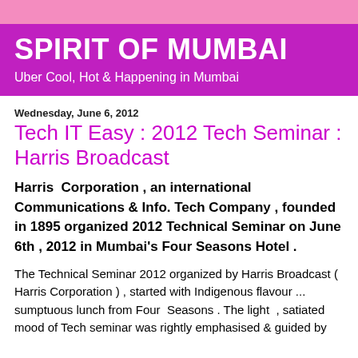SPIRIT OF MUMBAI
Uber Cool, Hot & Happening in Mumbai
Wednesday, June 6, 2012
Tech IT Easy : 2012 Tech Seminar : Harris Broadcast
Harris Corporation , an international Communications & Info. Tech Company , founded in 1895 organized 2012 Technical Seminar on June 6th , 2012 in Mumbai's Four Seasons Hotel .
The Technical Seminar 2012 organized by Harris Broadcast ( Harris Corporation ) , started with Indigenous flavour ... sumptuous lunch from Four Seasons . The light , satiated mood of Tech seminar was rightly emphasised  & guided by